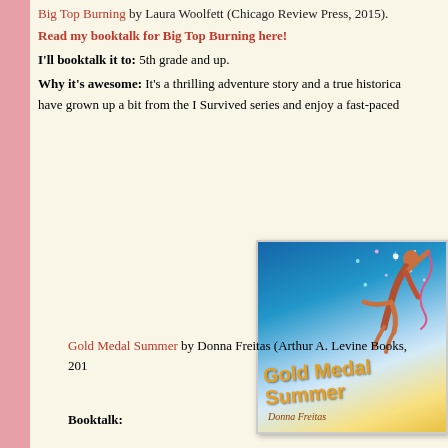Big Top Burning by Laura Woolfett (Chicago Review Press, 2015).
Read my booktalk for Big Top Burning here!
I'll booktalk it to: 5th grade and up.
Why it's awesome: It's a thrilling adventure story and a true historical... have grown up a bit from the I Survived series and enjoy a fast-paced...
[Figure (photo): Book cover of Gold Medal Summer by Donna Freitas, showing a gymnast leaping against a blue sky with sparkles and gold lettering]
Gold Medal Summer by Donna Freitas (Arthur A. Levine Books, 201...
Booktalk: